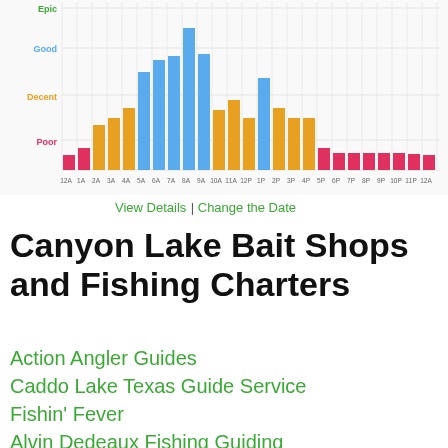[Figure (bar-chart): Fishing conditions by hour]
View Details | Change the Date
Canyon Lake Bait Shops and Fishing Charters
Action Angler Guides
Caddo Lake Texas Guide Service
Fishin' Fever
Alvin Dedeaux Fishing Guiding
Castell Guide Service
Llano Guiding Service